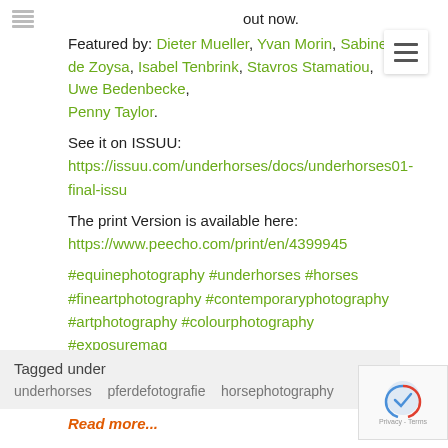out now.
Featured by: Dieter Mueller, Yvan Morin, Sabine de Zoysa, Isabel Tenbrink, Stavros Stamatiou, Uwe Bedenbecke, Penny Taylor.
See it on ISSUU:
https://issuu.com/underhorses/docs/underhorses01-final-issu
The print Version is available here:
https://www.peecho.com/print/en/4399945
#equinephotography #underhorses #horses #fineartphotography #contemporaryphotography #artphotography #colourphotography #exposuremag #fineartphotography #equistrian #horse
| Tagged under |
| --- |
| underhorses   pferdefotografie   horsephotography |
Read more...